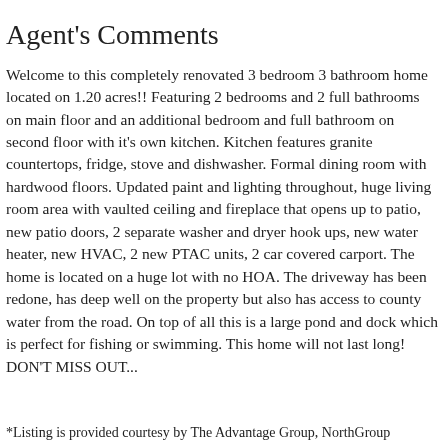Agent's Comments
Welcome to this completely renovated 3 bedroom 3 bathroom home located on 1.20 acres!! Featuring 2 bedrooms and 2 full bathrooms on main floor and an additional bedroom and full bathroom on second floor with it's own kitchen. Kitchen features granite countertops, fridge, stove and dishwasher. Formal dining room with hardwood floors. Updated paint and lighting throughout, huge living room area with vaulted ceiling and fireplace that opens up to patio, new patio doors, 2 separate washer and dryer hook ups, new water heater, new HVAC, 2 new PTAC units, 2 car covered carport. The home is located on a huge lot with no HOA. The driveway has been redone, has deep well on the property but also has access to county water from the road. On top of all this is a large pond and dock which is perfect for fishing or swimming. This home will not last long! DON'T MISS OUT...
*Listing is provided courtesy by The Advantage Group, NorthGroup